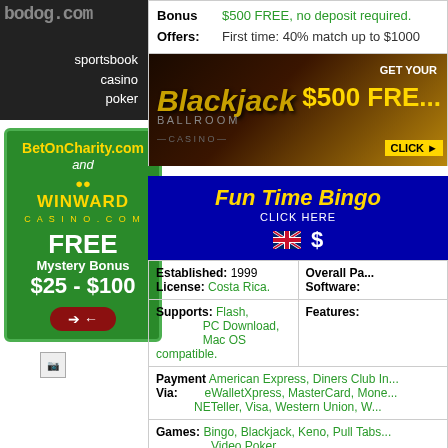[Figure (photo): Casino/sportsbook advertisement banner showing sportsbook, casino, poker text on dark background]
[Figure (photo): BetOnCharity.com and Winward Casino advertisement - green background with FREE Mystery Bonus $25-$100]
[Figure (other): Broken image placeholder]
| Bonus Offers |
| --- |
| $500 FREE, no deposit required. | First time: 40% match up to $1000 |
[Figure (photo): Blackjack Ballroom Get Your $500 Free banner advertisement]
Fun Time Bingo CLICK HERE
| Established | License | Overall Pa... | Software |
| --- | --- | --- | --- |
| 1999 | Costa Rica. |  |  |
| Supports | Features |
| --- | --- |
| Flash, PC Download, Mac OS compatible. |  |
| Payment Via |
| --- |
| American Express, Diners Club In..., eWalletXpress, MasterCard, Mone..., NETeller, Visa, Western Union, W... |
| Games |
| --- |
| Bingo, Blackjack, Keno, Pull Tabs..., Video Poker. |